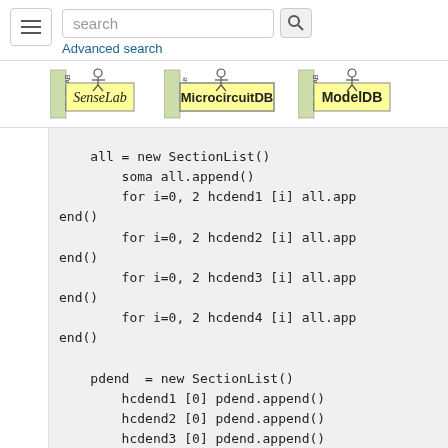search [search button] Advanced search
[Figure (logo): SenseLab logo, MicrocircuitDB logo, ModelDB logo]
all = new SectionList()
        soma all.append()
        for i=0, 2 hcdend1 [i] all.append()
        for i=0, 2 hcdend2 [i] all.append()
        for i=0, 2 hcdend3 [i] all.append()
        for i=0, 2 hcdend4 [i] all.append()

    pdend  = new SectionList()
        hcdend1 [0] pdend.append()
        hcdend2 [0] pdend.append()
        hcdend3 [0] pdend.append()
        hcdend4 [0] pdend.append()

    ddend  = new SectionList()
        for i=1, 2 hcdend1 [i] ddend.append()